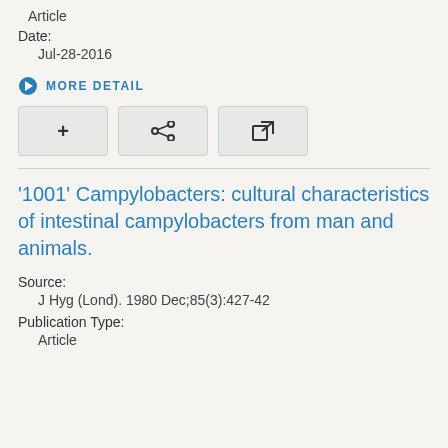Article
Date:
Jul-28-2016
MORE DETAIL
[Figure (other): Three action buttons: add (+), share, and external link icons]
'1001' Campylobacters: cultural characteristics of intestinal campylobacters from man and animals.
Source:
J Hyg (Lond). 1980 Dec;85(3):427-42
Publication Type:
Article